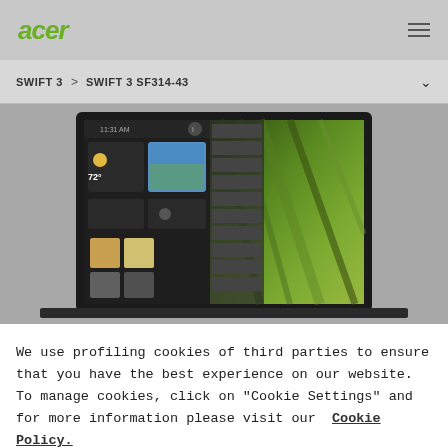acer
SWIFT 3  >  SWIFT 3 SF314-43
[Figure (screenshot): Acer Swift 3 SF314-43 laptop product image showing the screen with Windows 11 interface including weather widget and abstract green wallpaper]
We use profiling cookies of third parties to ensure that you have the best experience on our website. To manage cookies, click on "Cookie Settings" and for more information please visit our Cookie Policy.